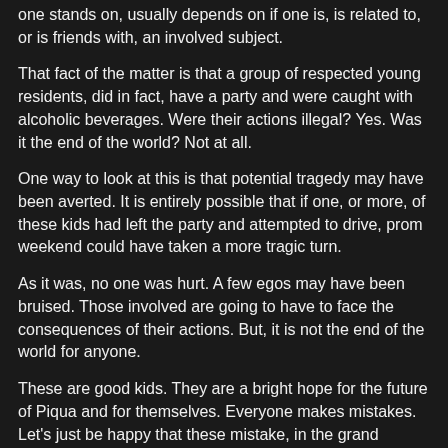one stands on, usually depends on if one is, is related to, or is friends with, an involved subject.
That fact of the matter is that a group of respected young residents, did in fact, have a party and were caught with alcoholic beverages. Were their actions illegal? Yes. Was it the end of the world? Not at all.
One way to look at this is that potential tragedy may have been averted. It is entirely possible that if one, or more, of these kids had left the party and attempted to drive, prom weekend could have taken a more tragic turn.
As it was, no one was hurt. A few egos may have been bruised. Those involved are going to have to face the consequences of their actions. But, it is not the end of the world for anyone.
These are good kids. They are a bright hope for the future of Piqua and for themselves. Everyone makes mistakes. Let's just be happy that these mistake, in the grand scheme of things, were minor.